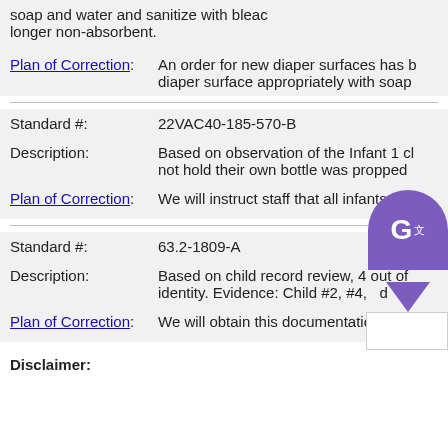soap and water and sanitize with bleach longer non-absorbent.
Plan of Correction: An order for new diaper surfaces has been placed. We will clean the diaper surface appropriately with soap
Standard #: 22VAC40-185-570-B
Description: Based on observation of the Infant 1 classroom, an infant who could not hold their own bottle was propped
Plan of Correction: We will instruct staff that all infants wh
Standard #: 63.2-1809-A
Description: Based on child record review, 4 out of ... identity. Evidence: Child #2, #4, ...
Plan of Correction: We will obtain this documentation from
Disclaimer: